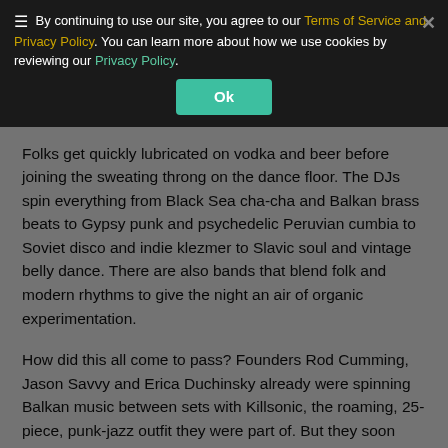[Figure (screenshot): Cookie consent banner overlay with hamburger menu icon, text 'By continuing to use our site, you agree to our Terms of Service and Privacy Policy. You can learn more about how we use cookies by reviewing our Privacy Policy.' with yellow and green hyperlinks, a teal Ok button, and a close X.]
city's finest Gypsy night, although you secretly shouldn't call it Gypsy night. Attendees wear three-piece suits, cravats, harem pants, elaborately stitched peasant skirts and feathered hats. The chic, sharp-tongued redhead at the door will stamp you wherever you want to be stamped.
Folks get quickly lubricated on vodka and beer before joining the sweating throng on the dance floor. The DJs spin everything from Black Sea cha-cha and Balkan brass beats to Gypsy punk and psychedelic Peruvian cumbia to Soviet disco and indie klezmer to Slavic soul and vintage belly dance. There are also bands that blend folk and modern rhythms to give the night an air of organic experimentation.
How did this all come to pass? Founders Rod Cumming, Jason Savvy and Erica Duchinsky already were spinning Balkan music between sets with Killsonic, the roaming, 25-piece, punk-jazz outfit they were part of. But they soon decided Los Angeles could use a first-rate international dance party, so they kicked off Malabomba! in the spring of 2009.